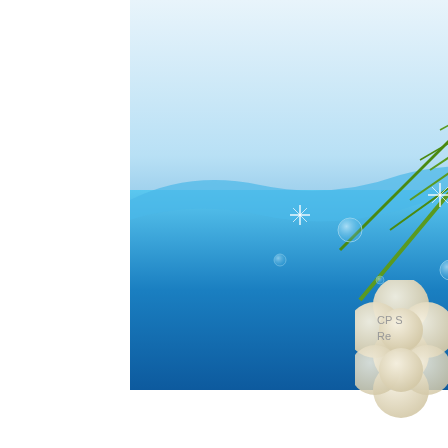with a base homemade
[Figure (photo): Tropical scene with palm fronds, yellow/white plumeria flowers, and sparkling blue water with bubbles and water droplets]
[Figure (photo): A cream-colored flower-shaped soap or tablet with text 'CP S Re' visible, partially cut off on the right side of the page]